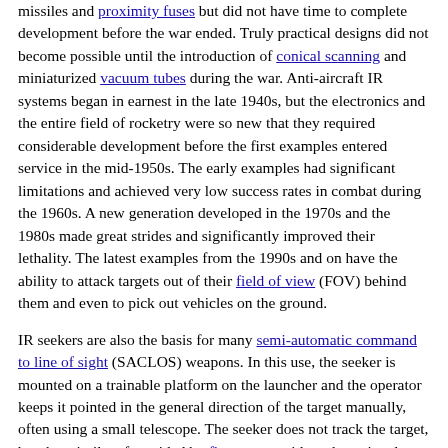missiles and proximity fuses but did not have time to complete development before the war ended. Truly practical designs did not become possible until the introduction of conical scanning and miniaturized vacuum tubes during the war. Anti-aircraft IR systems began in earnest in the late 1940s, but the electronics and the entire field of rocketry were so new that they required considerable development before the first examples entered service in the mid-1950s. The early examples had significant limitations and achieved very low success rates in combat during the 1960s. A new generation developed in the 1970s and the 1980s made great strides and significantly improved their lethality. The latest examples from the 1990s and on have the ability to attack targets out of their field of view (FOV) behind them and even to pick out vehicles on the ground.
IR seekers are also the basis for many semi-automatic command to line of sight (SACLOS) weapons. In this use, the seeker is mounted on a trainable platform on the launcher and the operator keeps it pointed in the general direction of the target manually, often using a small telescope. The seeker does not track the target, but the missile, often aided by flares to provide a clean signal. The same guidance signals are generated and sent to the missile via thin wires or radio signals, guiding the missile into the center of the operator's telescope. SACLOS systems of this sort have been used both for anti-tank missiles and surface-to-air missiles, as well as